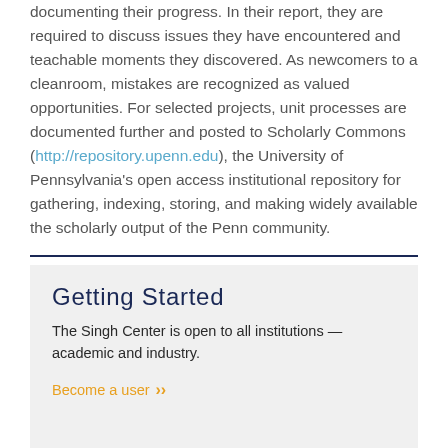documenting their progress. In their report, they are required to discuss issues they have encountered and teachable moments they discovered. As newcomers to a cleanroom, mistakes are recognized as valued opportunities. For selected projects, unit processes are documented further and posted to Scholarly Commons (http://repository.upenn.edu), the University of Pennsylvania's open access institutional repository for gathering, indexing, storing, and making widely available the scholarly output of the Penn community.
Getting Started
The Singh Center is open to all institutions — academic and industry.
Become a user